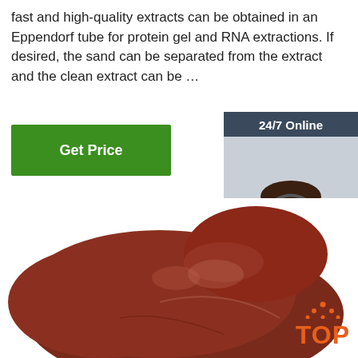fast and high-quality extracts can be obtained in an Eppendorf tube for protein gel and RNA extractions. If desired, the sand can be separated from the extract and the clean extract can be …
[Figure (other): Green 'Get Price' button]
[Figure (other): 24/7 Online customer support advertisement box with a woman wearing a headset, 'Click here for free chat!' text, and an orange 'QUOTATION' button]
[Figure (photo): Close-up photo of a dark reddish-brown organ (liver) on a white background]
[Figure (logo): Orange 'TOP' logo with dots arranged in a triangle above the text]